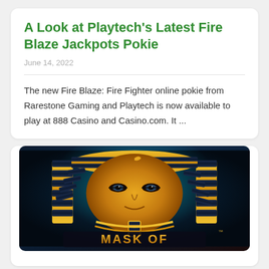A Look at Playtech’s Latest Fire Blaze Jackpots Pokie
June 14, 2022
The new Fire Blaze: Fire Fighter online pokie from Rarestone Gaming and Playtech is now available to play at 888 Casino and Casino.com. It ...
[Figure (photo): Screenshot of the Mask of (Anubis/Amun-Ra) casino slot game, showing a golden Egyptian pharaoh mask against a dark teal glowing background, with the text MASK OF at the bottom in golden letters.]